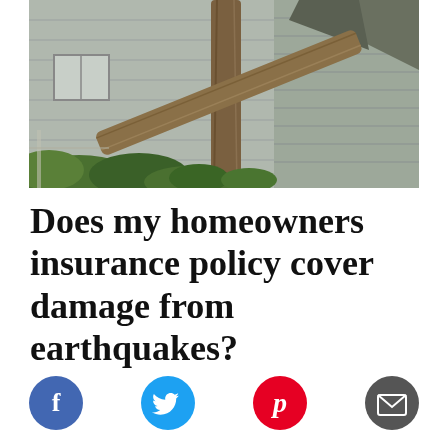[Figure (photo): A large fallen tree leaning against and damaging the side of a gray house, with green foliage visible around the base of the tree.]
Does my homeowners insurance policy cover damage from earthquakes?
[Figure (infographic): Row of four social media share buttons: Facebook (blue circle with 'f'), Twitter (cyan circle with bird icon), Pinterest (red circle with 'p'), and Email (dark gray circle with envelope icon).]